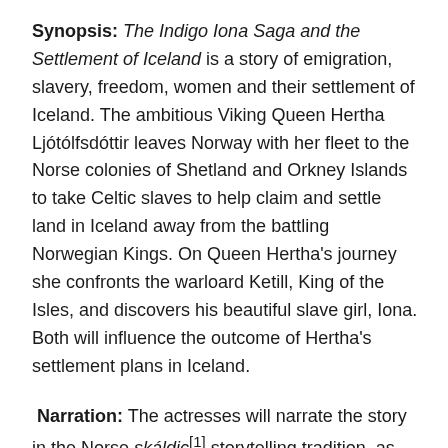Synopsis: The Indigo Iona Saga and the Settlement of Iceland is a story of emigration, slavery, freedom, women and their settlement of Iceland. The ambitious Viking Queen Hertha Ljótólfsdóttir leaves Norway with her fleet to the Norse colonies of Shetland and Orkney Islands to take Celtic slaves to help claim and settle land in Iceland away from the battling Norwegian Kings. On Queen Hertha's journey she confronts the warloard Ketill, King of the Isles, and discovers his beautiful slave girl, Iona. Both will influence the outcome of Hertha's settlement plans in Iceland.
Narration: The actresses will narrate the story in the Norse skáldic[1] storytelling tradition, as was done in the orignal Icelandic Sagas.